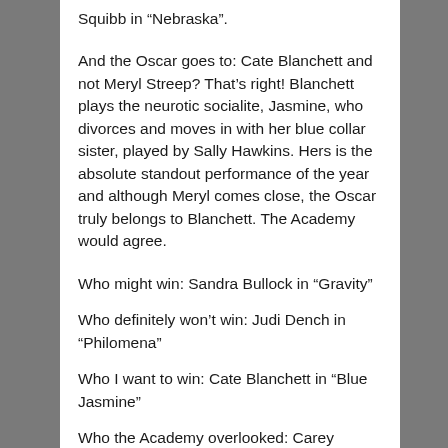Squibb in “Nebraska”.
And the Oscar goes to: Cate Blanchett and not Meryl Streep? That’s right! Blanchett plays the neurotic socialite, Jasmine, who divorces and moves in with her blue collar sister, played by Sally Hawkins. Hers is the absolute standout performance of the year and although Meryl comes close, the Oscar truly belongs to Blanchett. The Academy would agree.
Who might win: Sandra Bullock in “Gravity”
Who definitely won’t win: Judi Dench in “Philomena”
Who I want to win: Cate Blanchett in “Blue Jasmine”
Who the Academy overlooked: Carey Mulligan in